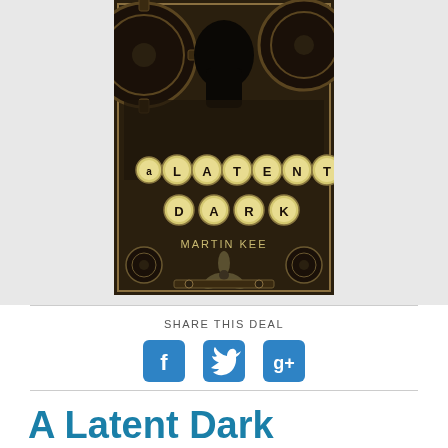[Figure (illustration): Book cover for 'A Latent Dark' by Martin Kee featuring steampunk imagery with gears, typewriter keys spelling out the title, and a dark mysterious figure at the top.]
SHARE THIS DEAL
[Figure (infographic): Social media sharing icons: Facebook (f), Twitter (bird), and Google+ (g+)]
A Latent Dark
by Martin Kee